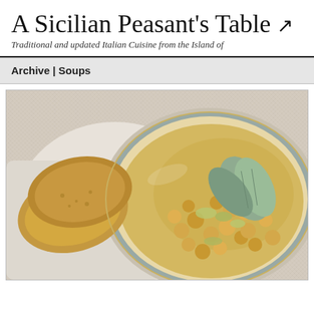A Sicilian Peasant's Table
Traditional and updated Italian Cuisine from the Island of
Archive | Soups
[Figure (photo): Overhead photo of a bowl of chickpea soup with sage leaves garnish and sliced bread on the side, on a white textile background]